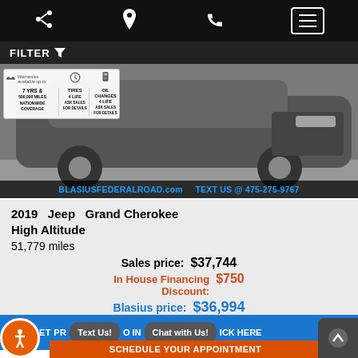Navigation bar with share, location, phone, and menu icons
FILTER
[Figure (photo): 2019 Jeep Grand Cherokee High Altitude vehicle photo with warranty badge overlay showing 7 YRS & 500,000 MILES NATIONWIDE COVERAGE, TIRES 4 LIFE ASK SALES FOR DETAILS, OIL CHANGES 4 LIFE ASK SALES FOR DETAILS, and URL bar BLASIUSFEDERALROAD.com TEXT US @ 475-275-9767]
2019 Jeep Grand Cherokee High Altitude 51,779 miles
Sales price: $37,744
In House Financing Discount: $750
Blasius price: $36,994
GET PR... O IN... ICK HERE | Text Us! | Chat with Us!
SCHEDULE YOUR APPOINTMENT